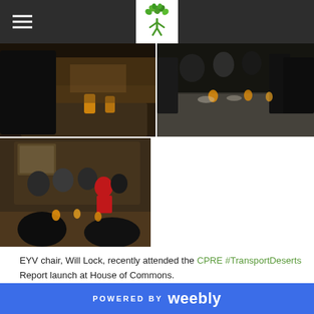EYV organization website header with logo and hamburger menu
[Figure (photo): Photo of a person at a dining table with orange juice glasses, dark venue, indoor meeting setting]
[Figure (photo): Photo of people seated at a long dining table with orange juice glasses, indoor meeting/event setting]
[Figure (photo): Photo of a group of people seated around a table at a formal meeting, woman in red jacket visible, indoor dining room]
EYV chair, Will Lock, recently attended the CPRE #TransportDeserts Report launch at House of Commons.
POWERED BY weebly